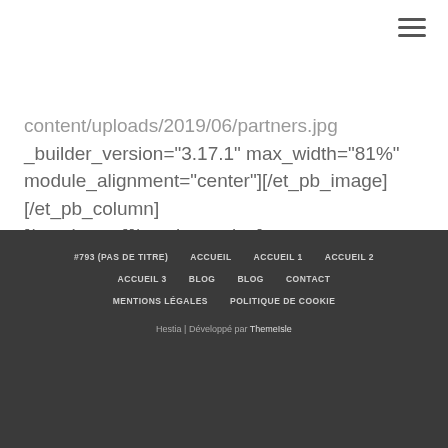content/uploads/2019/06/partners.jpg _builder_version="3.17.1" max_width="81%" module_alignment="center"][/et_pb_image][/et_pb_column][/et_pb_row][/et_pb_section]
#793 (PAS DE TITRE)  ACCUEIL  ACCUEIL 1  ACCUEIL 2  ACCUEIL 3  BLOG  BLOG  CONTACT  MENTIONS LÉGALES  POLITIQUE DE COOKIE
Hestia | Développé par ThemeIsle